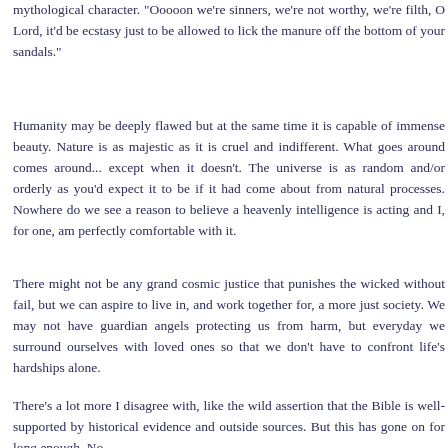mythological character. "Ooooon we're sinners, we're not worthy, we're filth, O Lord, it'd be ecstasy just to be allowed to lick the manure off the bottom of your sandals."
Humanity may be deeply flawed but at the same time it is capable of immense beauty. Nature is as majestic as it is cruel and indifferent. What goes around comes around... except when it doesn't. The universe is as random and/or orderly as you'd expect it to be if it had come about from natural processes. Nowhere do we see a reason to believe a heavenly intelligence is acting and I, for one, am perfectly comfortable with it.
There might not be any grand cosmic justice that punishes the wicked without fail, but we can aspire to live in, and work together for, a more just society. We may not have guardian angels protecting us from harm, but everyday we surround ourselves with loved ones so that we don't have to confront life's hardships alone.
There's a lot more I disagree with, like the wild assertion that the Bible is well-supported by historical evidence and outside sources. But this has gone on for long enough. No